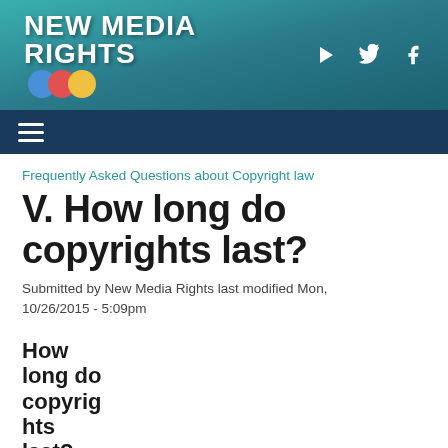NEW MEDIA RIGHTS
Frequently Asked Questions about Copyright law
V. How long do copyrights last?
Submitted by New Media Rights last modified Mon, 10/26/2015 - 5:09pm
How long do copyrights last?
Generall